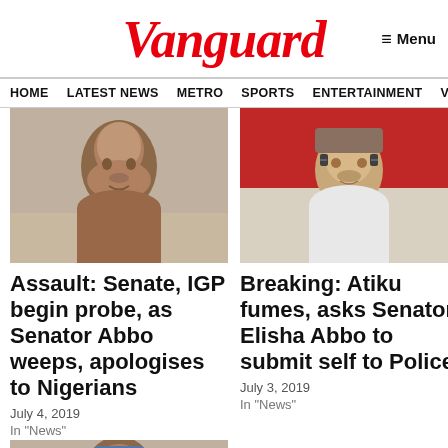Vanguard
Menu
HOME  LATEST NEWS  METRO  SPORTS  ENTERTAINMENT  VIDEOS
[Figure (photo): Young man's face close-up, neutral background]
Assault: Senate, IGP begin probe, as Senator Abbo weeps, apologises to Nigerians
July 4, 2019
In "News"
[Figure (photo): Older man in white garment and glasses seated, red background]
Breaking: Atiku fumes, asks Senator Elisha Abbo to submit self to Police
July 3, 2019
In "News"
[Figure (photo): Man with blue cap, close-up portrait]